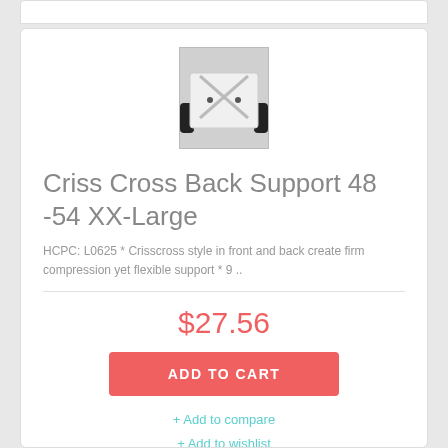[Figure (photo): Product photo of a white criss cross back support brace being worn, shown from the front against a dark background]
Criss Cross Back Support 48 -54 XX-Large
HCPC: L0625 * Crisscross style in front and back create firm compression yet flexible support * 9 ..
$27.56
ADD TO CART
+ Add to compare
+ Add to wishlist